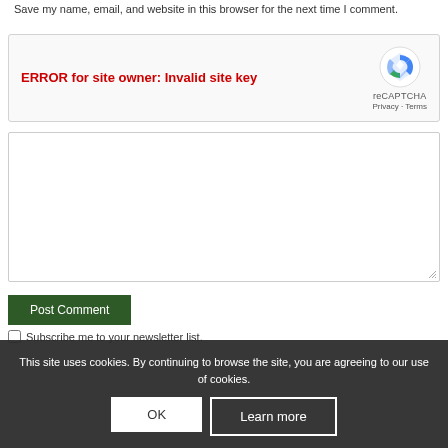Save my name, email, and website in this browser for the next time I comment.
[Figure (screenshot): reCAPTCHA widget showing error: ERROR for site owner: Invalid site key, with reCAPTCHA logo, Privacy and Terms links]
[Figure (screenshot): Large empty textarea input field with resize handle in bottom-right corner]
Post Comment
Subscribe me to your newsletter list.
This site uses cookies. By continuing to browse the site, you are agreeing to our use of cookies.
OK
Learn more